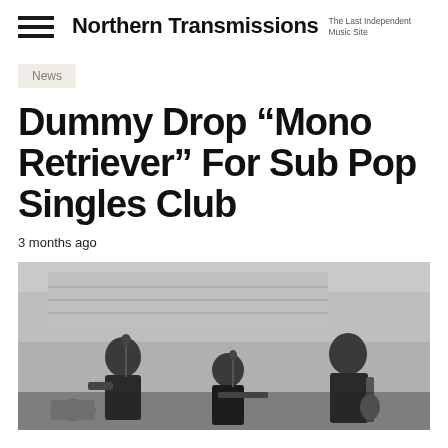Northern Transmissions — The Last Independent Music Site
News
Dummy Drop “Mono Retriever” For Sub Pop Singles Club
3 months ago
[Figure (photo): Black and white photo of a band playing instruments, multiple members visible including guitarists and other musicians performing]